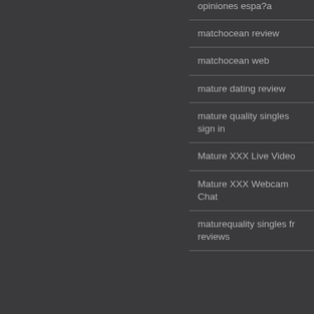opiniones espa?a
matchocean review
matchocean web
mature dating review
mature quality singles sign in
Mature XXX Live Video
Mature XXX Webcam Chat
maturequality singles fr reviews